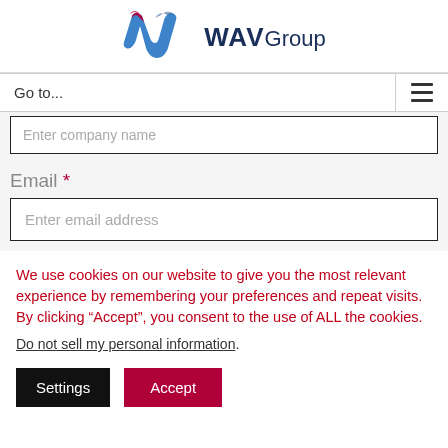[Figure (logo): WAV Group logo with blue and red ribbon-shaped W graphic and dark blue WAVGroup text]
Go to...
Enter company name
Email *
Enter email address
We use cookies on our website to give you the most relevant experience by remembering your preferences and repeat visits. By clicking “Accept”, you consent to the use of ALL the cookies.
Do not sell my personal information.
Settings
Accept